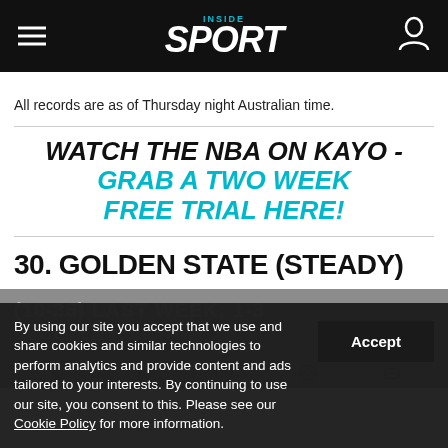Inside Sport
All records are as of Thursday night Australian time.
WATCH THE NBA ON KAYO - GRAB A TWO WEEK FREE TRIAL HERE!
30. GOLDEN STATE (STEADY)
(10-36) LAST WEEK: 1-3
By using our site you accept that we use and share cookies and similar technologies to perform analytics and provide content and ads tailored to your interests. By continuing to use our site, you consent to this. Please see our Cookie Policy for more information.